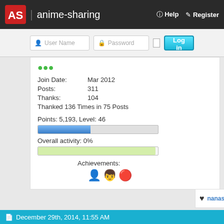anime-sharing | Help | Register
User Name | Password | Log in
Join Date: Mar 2012
Posts: 311
Thanks: 104
Thanked 136 Times in 75 Posts
Points: 5,193, Level: 46
Overall activity: 0%
Achievements:
nanashi1 likes this.
The Following 3 Users Say Thank You to Stahlschild For This
espiekerella, fguelffstan, nanashi1
December 29th, 2014, 11:55 AM